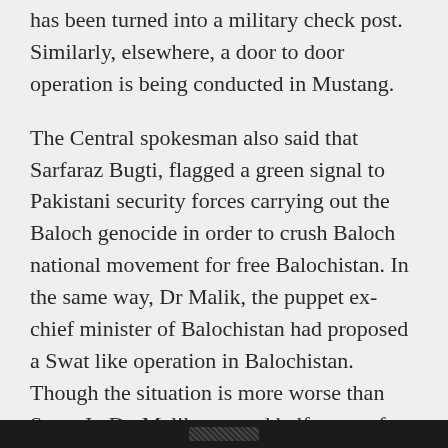has been turned into a military check post. Similarly, elsewhere, a door to door operation is being conducted in Mustang.
The Central spokesman also said that Sarfaraz Bugti, flagged a green signal to Pakistani security forces carrying out the Baloch genocide in order to crush Baloch national movement for free Balochistan. In the same way, Dr Malik, the puppet ex-chief minister of Balochistan had proposed a Swat like operation in Balochistan. Though the situation is more worse than Swat. In Dr. Malik two and half years of tenure as so-called CM of Occupied Balochistan, 3 mass graves were discovered in [obscured] of Khuzdar